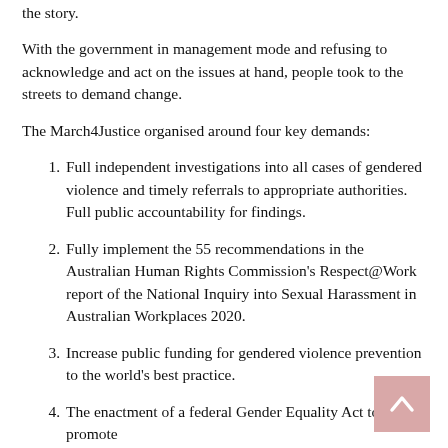the story.
With the government in management mode and refusing to acknowledge and act on the issues at hand, people took to the streets to demand change.
The March4Justice organised around four key demands:
Full independent investigations into all cases of gendered violence and timely referrals to appropriate authorities. Full public accountability for findings.
Fully implement the 55 recommendations in the Australian Human Rights Commission's Respect@Work report of the National Inquiry into Sexual Harassment in Australian Workplaces 2020.
Increase public funding for gendered violence prevention to the world's best practice.
The enactment of a federal Gender Equality Act to promote